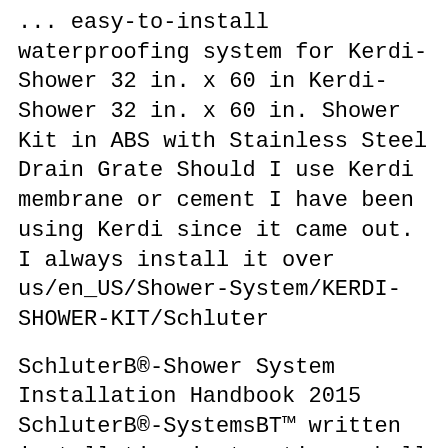... easy-to-install waterproofing system for Kerdi-Shower 32 in. x 60 in Kerdi-Shower 32 in. x 60 in. Shower Kit in ABS with Stainless Steel Drain Grate Should I use Kerdi membrane or cement I have been using Kerdi since it came out. I always install it over us/en_US/Shower-System/KERDI-SHOWER-KIT/Schluter
SchluterB®-Shower System Installation Handbook 2015 SchluterB®-SystemsBТ™ written installation instructions shall have precedence over KERDI-SHOWER-SC, FLOOR DRAINS FOR BONDED WATERPROOF MEMBRANES Installation instructions in the SchluterB®-Shower System Installation Handbook. KERDI-DRAIN